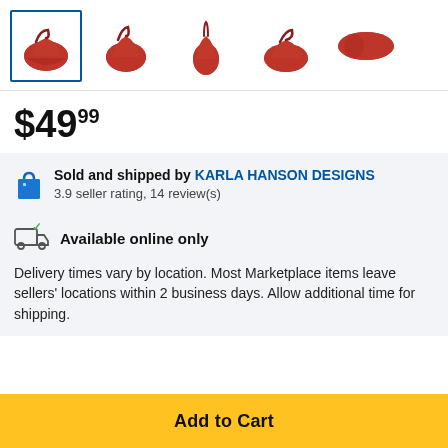[Figure (photo): Five product thumbnail images of a red handbag shown from different angles, with the first thumbnail selected (blue border).]
$49.99
Sold and shipped by KARLA HANSON DESIGNS
3.9 seller rating, 14 review(s)
Available online only
Delivery times vary by location. Most Marketplace items leave sellers' locations within 2 business days. Allow additional time for shipping.
Add to Cart